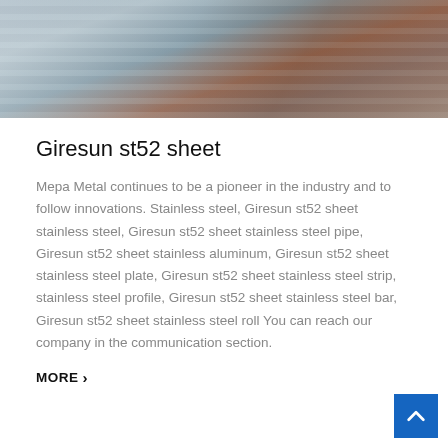[Figure (photo): Stacked stainless steel sheets photographed from an angle, showing metallic silver surfaces with warm brown/copper tones in the background]
Giresun st52 sheet
Mepa Metal continues to be a pioneer in the industry and to follow innovations. Stainless steel, Giresun st52 sheet stainless steel, Giresun st52 sheet stainless steel pipe, Giresun st52 sheet stainless aluminum, Giresun st52 sheet stainless steel plate, Giresun st52 sheet stainless steel strip, stainless steel profile, Giresun st52 sheet stainless steel bar, Giresun st52 sheet stainless steel roll You can reach our company in the communication section.
MORE ›